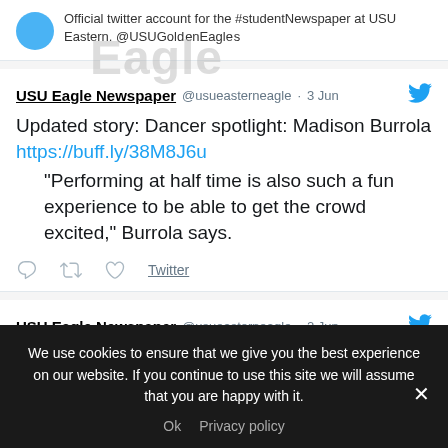Official twitter account for the #studentNewspaper at USU Eastern. @USUGoldenEagles
USU Eagle Newspaper @usueasterneagle · 3 Jun
Updated story: Dancer spotlight: Madison Burrola
https://buff.ly/38M8J6u
“Performing at half time is also such a fun experience to be able to get the crowd excited,” Burrola says.
USU Eagle Newspaper @usueasterneagle · 2 Jun
We use cookies to ensure that we give you the best experience on our website. If you continue to use this site we will assume that you are happy with it.
Ok  Privacy policy